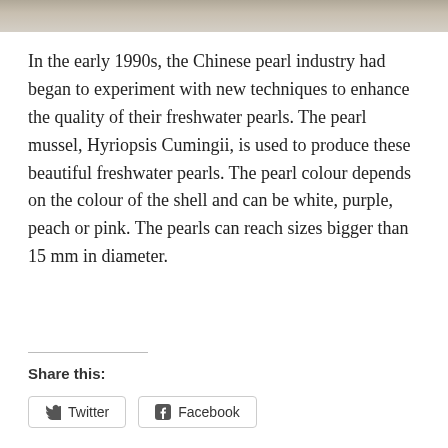[Figure (photo): Partial photograph strip at the top of the page, showing an outdoor scene.]
In the early 1990s, the Chinese pearl industry had began to experiment with new techniques to enhance the quality of their freshwater pearls. The pearl mussel, Hyriopsis Cumingii, is used to produce these beautiful freshwater pearls. The pearl colour depends on the colour of the shell and can be white, purple, peach or pink. The pearls can reach sizes bigger than 15 mm in diameter.
Share this:
Twitter
Facebook